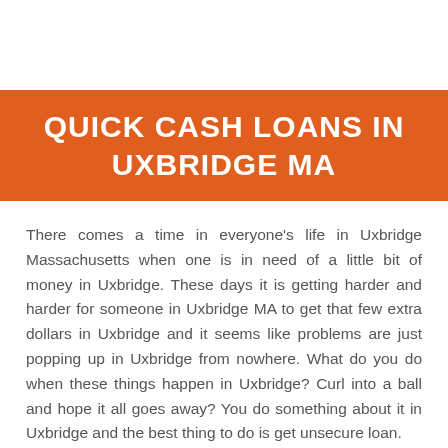QUICK CASH LOANS IN UXBRIDGE MA
There comes a time in everyone's life in Uxbridge Massachusetts when one is in need of a little bit of money in Uxbridge. These days it is getting harder and harder for someone in Uxbridge MA to get that few extra dollars in Uxbridge and it seems like problems are just popping up in Uxbridge from nowhere. What do you do when these things happen in Uxbridge? Curl into a ball and hope it all goes away? You do something about it in Uxbridge and the best thing to do is get unsecure loan.
The ugly word loan. It scares a lot of people in